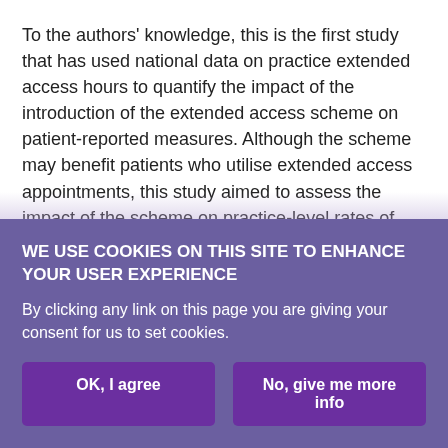To the authors' knowledge, this is the first study that has used national data on practice extended access hours to quantify the impact of the introduction of the extended access scheme on patient-reported measures. Although the scheme may benefit patients who utilise extended access appointments, this study aimed to assess the impact of the scheme on practice-level rates of satisfaction (the primary motivation of the policy). The study utilised data from a period when there were considerable differences in the provision of extended access between practices before the introduction of nation-wide coverage. The use of fixed-effects modelling eliminates time invariant confounding factors that...
WE USE COOKIES ON THIS SITE TO ENHANCE YOUR USER EXPERIENCE
By clicking any link on this page you are giving your consent for us to set cookies.